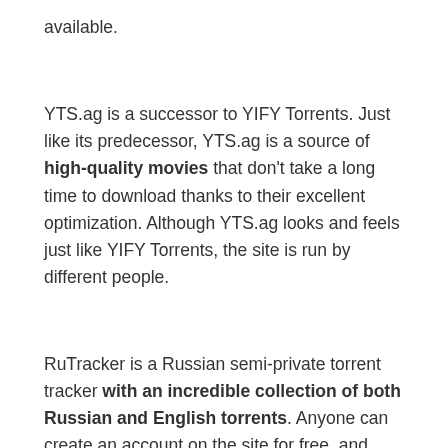available.
YTS.ag is a successor to YIFY Torrents. Just like its predecessor, YTS.ag is a source of high-quality movies that don't take a long time to download thanks to their excellent optimization. Although YTS.ag looks and feels just like YIFY Torrents, the site is run by different people.
RuTracker is a Russian semi-private torrent tracker with an incredible collection of both Russian and English torrents. Anyone can create an account on the site for free, and RuTracker doesn't have any strict seeding